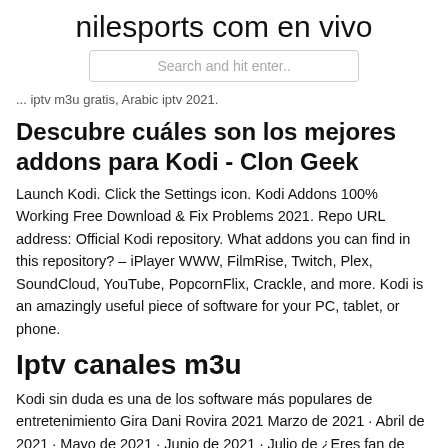nilesports com en vivo
Search and hit enter..
... iptv m3u gratis, Arabic iptv 2021.
Descubre cuáles son los mejores addons para Kodi - Clon Geek
Launch Kodi. Click the Settings icon. Kodi Addons 100% Working Free Download & Fix Problems 2021. Repo URL address: Official Kodi repository. What addons you can find in this repository? – iPlayer WWW, FilmRise, Twitch, Plex, SoundCloud, YouTube, PopcornFlix, Crackle, and more. Kodi is an amazingly useful piece of software for your PC, tablet, or phone.
Iptv canales m3u
Kodi sin duda es una de los software más populares de entretenimiento Gira Dani Rovira 2021 Marzo de 2021 · Abril de 2021 · Mayo de 2021 · Junio de 2021 · Julio de ¿Eres fan de mejores complementos para kodi en Alabandas? Los...